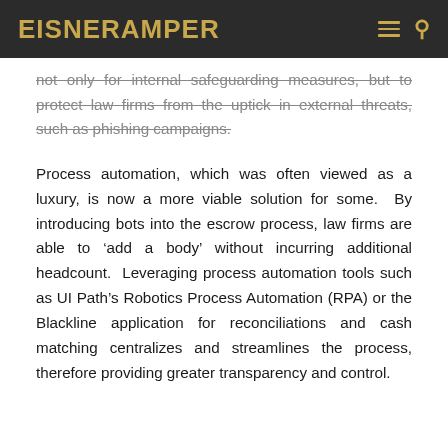EisnerAmper
not only for internal safeguarding measures, but to protect law firms from the uptick in external threats, such as phishing campaigns.
Process automation, which was often viewed as a luxury, is now a more viable solution for some. By introducing bots into the escrow process, law firms are able to ‘add a body’ without incurring additional headcount. Leveraging process automation tools such as UI Path’s Robotics Process Automation (RPA) or the Blackline application for reconciliations and cash matching centralizes and streamlines the process, therefore providing greater transparency and control.